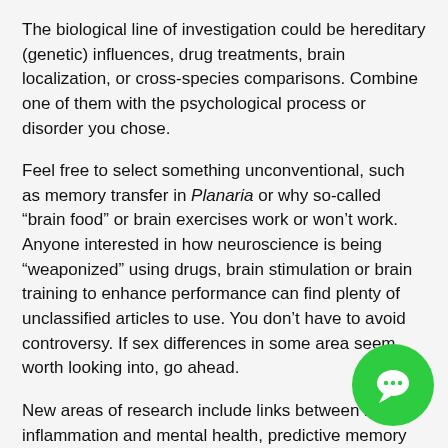The biological line of investigation could be hereditary (genetic) influences, drug treatments, brain localization, or cross-species comparisons. Combine one of them with the psychological process or disorder you chose.
Feel free to select something unconventional, such as memory transfer in Planaria or why so-called “brain food” or brain exercises work or won’t work. Anyone interested in how neuroscience is being “weaponized” using drugs, brain stimulation or brain training to enhance performance can find plenty of unclassified articles to use. You don’t have to avoid controversy. If sex differences in some area seem worth looking into, go ahead.
New areas of research include links between brain inflammation and mental health, predictive memory and default mode networks, epigenetic influences on behavior, highly superior autobiographical memory, and so-called smart or nootropic drugs.
Instructions
The document for this presentation will expect that...